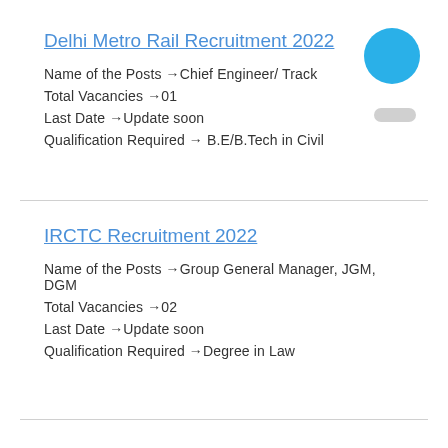Delhi Metro Rail Recruitment 2022
Name of the Posts  →Chief Engineer/ Track
Total Vacancies  →01
Last Date  →Update soon
Qualification Required  → B.E/B.Tech in Civil
IRCTC Recruitment 2022
Name of the Posts  →Group General Manager, JGM, DGM
Total Vacancies  →02
Last Date  →Update soon
Qualification Required  →Degree in Law